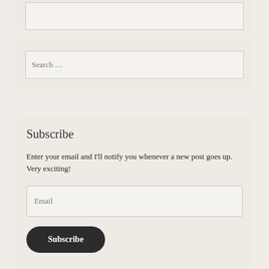[Figure (screenshot): Top widget area with an empty input/text box at the top of the page]
[Figure (screenshot): Search widget area with a search input field showing placeholder text 'Search ...']
Subscribe
Enter your email and I'll notify you whenever a new post goes up. Very exciting!
[Figure (screenshot): Email input field with placeholder text 'Email' and a dark rounded 'Subscribe' button below it]